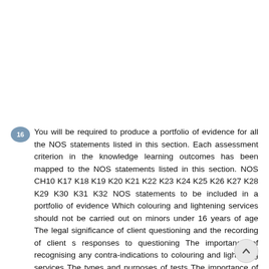16 You will be required to produce a portfolio of evidence for all the NOS statements listed in this section. Each assessment criterion in the knowledge learning outcomes has been mapped to the NOS statements listed in this section. NOS CH10 K17 K18 K19 K20 K21 K22 K23 K24 K25 K26 K27 K28 K29 K30 K31 K32 NOS statements to be included in a portfolio of evidence Which colouring and lightening services should not be carried out on minors under 16 years of age The legal significance of client questioning and the recording of client s responses to questioning The importance of recognising any contra-indications to colouring and lightening services The types and purposes of tests The importance of following